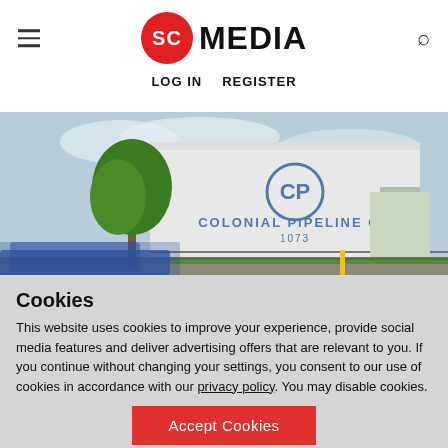SC MEDIA | LOG IN   REGISTER
[Figure (photo): Colonial Pipeline Co storage tank with a large white cylindrical tank labeled 'Colonial Pipeline CO 1073', a green tree, and a car passing in the foreground on a cloudy day.]
Cookies
This website uses cookies to improve your experience, provide social media features and deliver advertising offers that are relevant to you. If you continue without changing your settings, you consent to our use of cookies in accordance with our privacy policy. You may disable cookies.
Accept Cookies